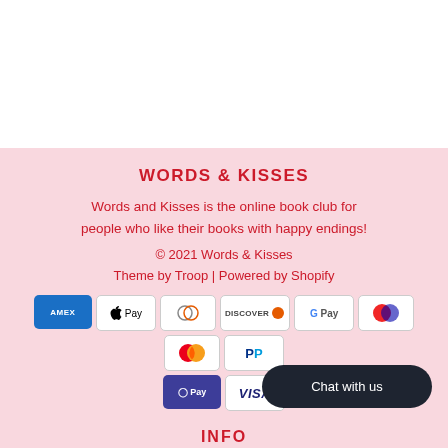WORDS & KISSES
Words and Kisses is the online book club for people who like their books with happy endings!
© 2021 Words & Kisses
Theme by Troop | Powered by Shopify
[Figure (logo): Payment method icons: American Express, Apple Pay, Diners Club, Discover, Google Pay, Maestro, Mastercard, PayPal, Shop Pay, Visa]
[Figure (other): Chat with us button (dark rounded pill button)]
INFO